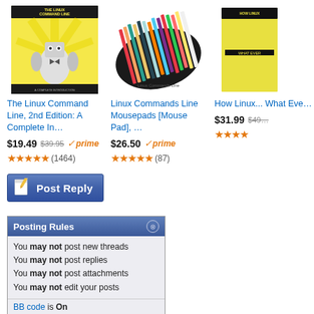[Figure (screenshot): Amazon product listing: The Linux Command Line, 2nd Edition book cover - yellow with robot illustration]
The Linux Command Line, 2nd Edition: A Complete In…
$19.49 $39.95 prime (1464)
[Figure (screenshot): Amazon product listing: Linux Commands Line Mousepads [Mouse Pad] - black mousepad with colorful pens]
Linux Commands Line Mousepads [Mouse Pad], …
$26.50 prime (87)
[Figure (screenshot): Amazon product listing: How Linux... What Ever... - yellow book cover, partially cut off]
How Linux... What Ever…
$31.99 $49…
[Figure (screenshot): Post Reply button - blue button with pen/paper icon]
| Posting Rules |
| --- |
| You may not post new threads |
| You may not post replies |
| You may not post attachments |
| You may not edit your posts |
| BB code is On |